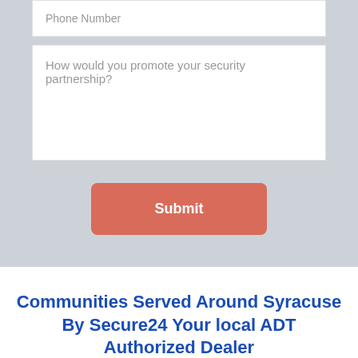Phone Number
How would you promote your security partnership?
Submit
Communities Served Around Syracuse By Secure24 Your local ADT Authorized Dealer